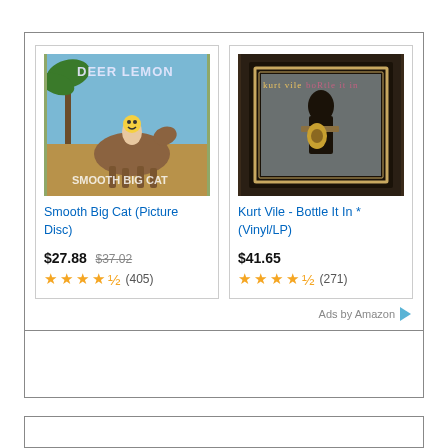[Figure (screenshot): Amazon ad widget showing two vinyl record products side by side: 'Smooth Big Cat (Picture Disc)' priced at $27.88 (was $37.02), rated 4.5 stars (405 reviews); and 'Kurt Vile - Bottle It In * (Vinyl/LP)' priced at $41.65, rated 4.5 stars (271 reviews). 'Ads by Amazon' label at bottom right.]